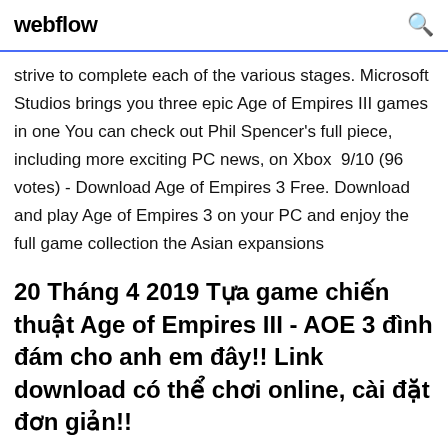webflow
strive to complete each of the various stages. Microsoft Studios brings you three epic Age of Empires III games in one You can check out Phil Spencer's full piece, including more exciting PC news, on Xbox  9/10 (96 votes) - Download Age of Empires 3 Free. Download and play Age of Empires 3 on your PC and enjoy the full game collection the Asian expansions
20 Tháng 4 2019 Tựa game chiến thuật Age of Empires III - AOE 3 đình đám cho anh em đây!! Link download có thể chơi online, cài đặt đơn giản!!